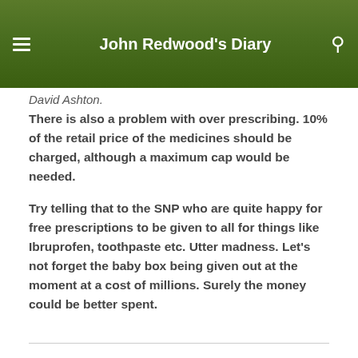John Redwood's Diary
David Ashton.
There is also a problem with over prescribing. 10% of the retail price of the medicines should be charged, although a maximum cap would be needed.
Try telling that to the SNP who are quite happy for free prescriptions to be given to all for things like Ibruprofen, toothpaste etc. Utter madness. Let’s not forget the baby box being given out at the moment at a cost of millions. Surely the money could be better spent.